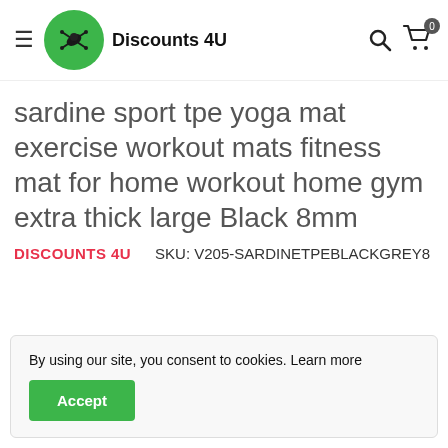Discounts 4U — navigation header
sardine sport tpe yoga mat exercise workout mats fitness mat for home workout home gym extra thick large Black 8mm
DISCOUNTS 4U   SKU: V205-SARDINETPEBLACKGREY8
By using our site, you consent to cookies. Learn more
Accept